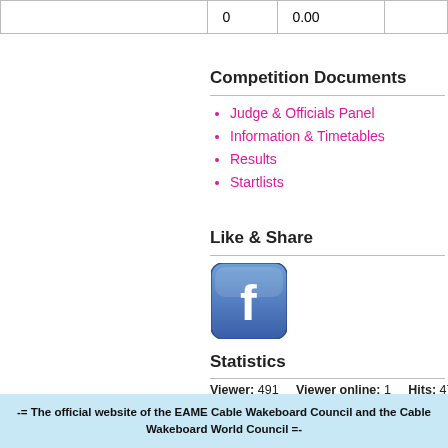|  | 0 | 0.00 |  |
Competition Documents
Judge & Officials Panel
Information & Timetables
Results
Startlists
Like & Share
[Figure (logo): Facebook logo button - rounded square blue icon with white 'f' letter]
Statistics
Viewer: 491    Viewer online: 1    Hits: 47
-= The official website of the EAME Cable Wakeboard Council and the Cable Wakeboard World Council =-